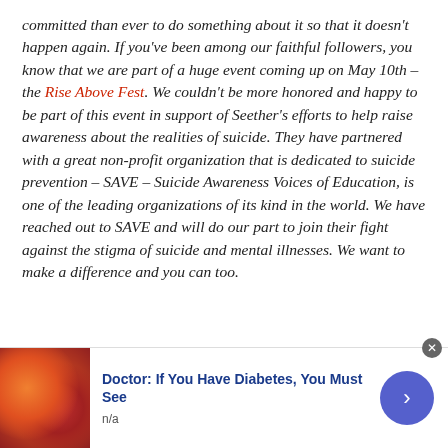committed than ever to do something about it so that it doesn't happen again. If you've been among our faithful followers, you know that we are part of a huge event coming up on May 10th – the Rise Above Fest. We couldn't be more honored and happy to be part of this event in support of Seether's efforts to help raise awareness about the realities of suicide. They have partnered with a great non-profit organization that is dedicated to suicide prevention – SAVE – Suicide Awareness Voices of Education, is one of the leading organizations of its kind in the world. We have reached out to SAVE and will do our part to join their fight against the stigma of suicide and mental illnesses. We want to make a difference and you can too.
[Figure (photo): Advertisement image showing gummy candy (orange and red gummy bears/candies)]
Doctor: If You Have Diabetes, You Must See
n/a